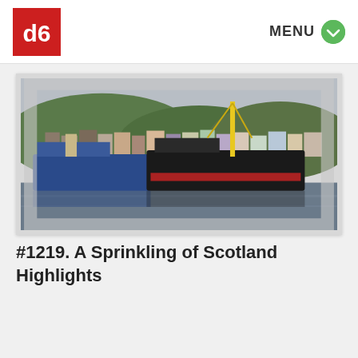[Figure (logo): Red square logo with white 'db' letters]
MENU
[Figure (photo): Scottish harbor with boats docked, colorful town buildings in background, overcast sky, yellow crane visible on black vessel]
#1219. A Sprinkling of Scotland Highlights
[Figure (photo): Partial black and white or dark photo at bottom of page]